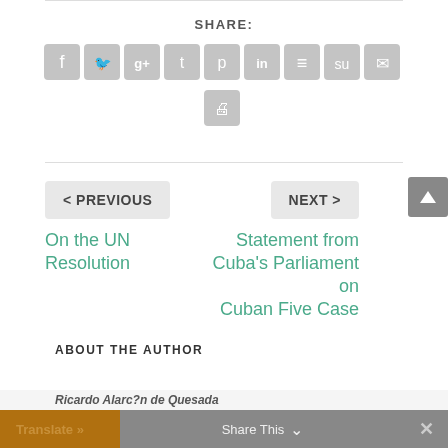SHARE:
[Figure (infographic): Row of social media share icon buttons: Facebook, Twitter, Google+, Tumblr, Pinterest, LinkedIn, Buffer, StumbleUpon, Email, Print]
< PREVIOUS
On the UN Resolution
NEXT >
Statement from Cuba's Parliament on Cuban Five Case
ABOUT THE AUTHOR
Translate »   Share This   ×   Ricardo Alarc?n de Quesada